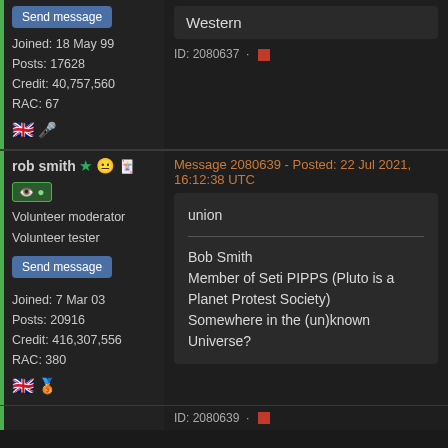Send message
Joined: 18 May 99
Posts: 17628
Credit: 40,757,560
RAC: 67
Western
ID: 2080637 ·
rob smith ★ 😐
Volunteer moderator
Volunteer tester
Message 2080639 - Posted: 22 Jul 2021, 16:12:38 UTC
Send message
Joined: 7 Mar 03
Posts: 20916
Credit: 416,307,556
RAC: 380
union

Bob Smith
Member of Seti PIPPS (Pluto is a Planet Protest Society)
Somewhere in the (un)known Universe?
ID: 2080639 ·